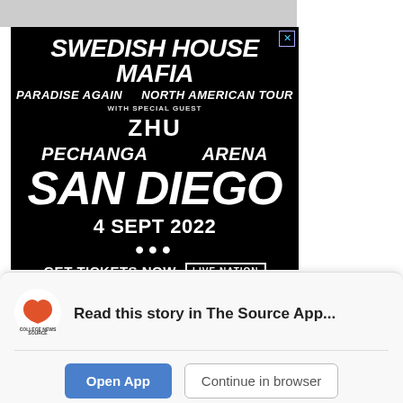[Figure (photo): Partial image at top of page, cropped]
[Figure (illustration): Swedish House Mafia Paradise Again North American Tour advertisement featuring ZHU at Pechanga Arena San Diego on 4 Sept 2022 with Get Tickets Now via Live Nation]
Read this story in The Source App...
Open App
Continue in browser